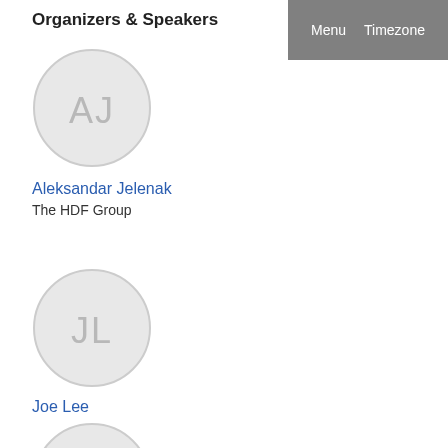Organizers & Speakers
Menu  Timezone
[Figure (illustration): Circular avatar placeholder with initials AJ in light gray]
Aleksandar Jelenak
The HDF Group
[Figure (illustration): Circular avatar placeholder with initials JL in light gray]
Joe Lee
[Figure (illustration): Partially visible circular avatar placeholder at bottom of page]